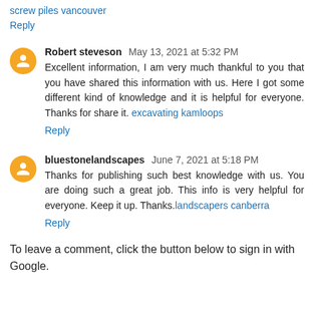screw piles vancouver
Reply
Robert steveson May 13, 2021 at 5:32 PM
Excellent information, I am very much thankful to you that you have shared this information with us. Here I got some different kind of knowledge and it is helpful for everyone. Thanks for share it. excavating kamloops
Reply
bluestonelandscapes June 7, 2021 at 5:18 PM
Thanks for publishing such best knowledge with us. You are doing such a great job. This info is very helpful for everyone. Keep it up. Thanks.landscapers canberra
Reply
To leave a comment, click the button below to sign in with Google.